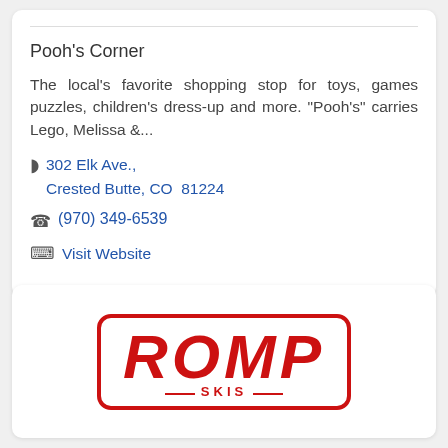Pooh's Corner
The local's favorite shopping stop for toys, games puzzles, children's dress-up and more. "Pooh's" carries Lego, Melissa &...
302 Elk Ave., Crested Butte, CO  81224
(970) 349-6539
Visit Website
[Figure (logo): ROMP Skis logo in red with rounded rectangle border, bold italic text]